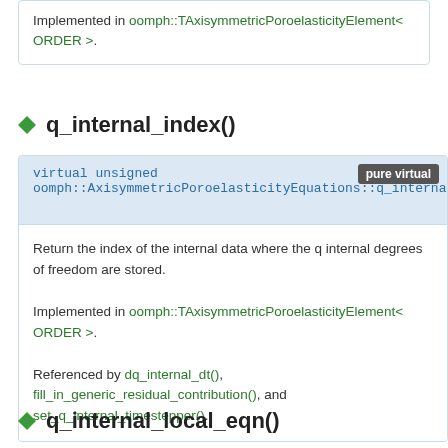Implemented in oomph::TAxisymmetricPoroelasticityElement< ORDER >.
q_internal_index()
virtual unsigned oomph::AxisymmetricPoroelasticityEquations::q_internal_index ()con  pure virtual
Return the index of the internal data where the q internal degrees of freedom are stored.

Implemented in oomph::TAxisymmetricPoroelasticityElement< ORDER >.

Referenced by dq_internal_dt(), fill_in_generic_residual_contribution(), and set_q_internal_timestepper().
q_internal_local_eqn()